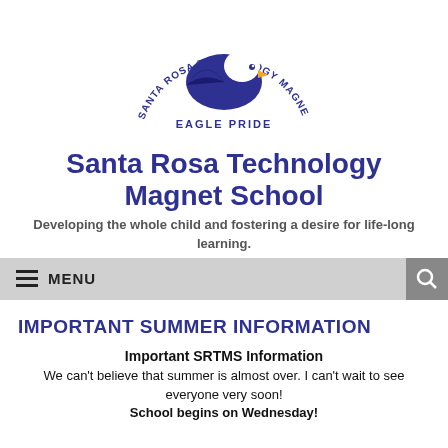[Figure (logo): Santa Rosa Technology Magnet School eagle logo with text 'SANTA ROSA TECHNOLOGY MAGNET SCHOOL' arched above and 'EAGLE PRIDE' below]
Santa Rosa Technology Magnet School
Developing the whole child and fostering a desire for life-long learning.
MENU
IMPORTANT SUMMER INFORMATION
Important SRTMS Information
We can't believe that summer is almost over. I can't wait to see everyone very soon! School begins on Wednesday!